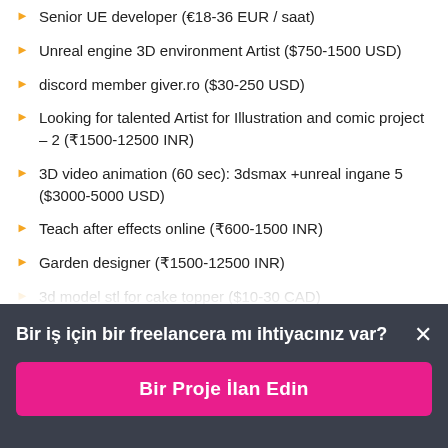Senior UE developer (€18-36 EUR / saat)
Unreal engine 3D environment Artist ($750-1500 USD)
discord member giver.ro ($30-250 USD)
Looking for talented Artist for Illustration and comic project – 2 (₹1500-12500 INR)
3D video animation (60 sec): 3dsmax +unreal ingane 5 ($3000-5000 USD)
Teach after effects online (₹600-1500 INR)
Garden designer (₹1500-12500 INR)
3d model stl for cake topper ($10-30 CAD)
Bir iş için bir freelancera mı ihtiyacınız var?
Bir Proje İlan Edin